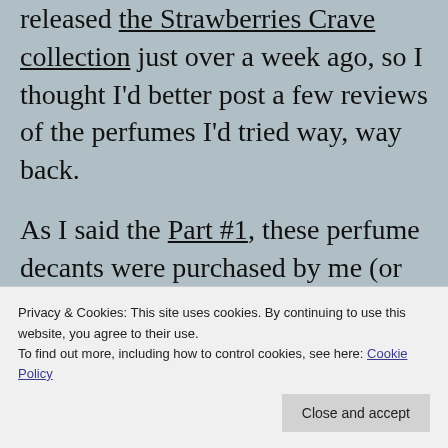released the Strawberries Crave collection just over a week ago, so I thought I'd better post a few reviews of the perfumes I'd tried way, way back.
As I said the Part #1, these perfume decants were purchased by me (or received in swaps) in the last four years. I've already used up or destashed all of these Strawberries but I did try to review them in a coherent manner. These
Privacy & Cookies: This site uses cookies. By continuing to use this website, you agree to their use.
To find out more, including how to control cookies, see here: Cookie Policy
Close and accept
I hope you find these Arcana Strawberries